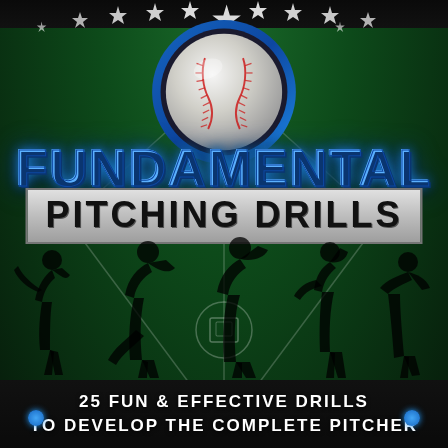[Figure (illustration): Book cover for 'Fundamental Pitching Drills' featuring a dark green baseball diamond background, a large baseball in a blue ring at the top center, white star decorations, silhouettes of baseball pitchers in various throwing poses, and subtitle text at the bottom on a dark band.]
FUNDAMENTAL PITCHING DRILLS
25 FUN & EFFECTIVE DRILLS TO DEVELOP THE COMPLETE PITCHER